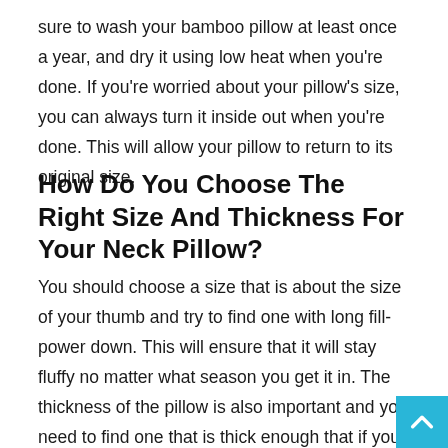sure to wash your bamboo pillow at least once a year, and dry it using low heat when you're done. If you're worried about your pillow's size, you can always turn it inside out when you're done. This will allow your pillow to return to its original size.
How Do You Choose The Right Size And Thickness For Your Neck Pillow?
You should choose a size that is about the size of your thumb and try to find one with long fill-power down. This will ensure that it will stay fluffy no matter what season you get it in. The thickness of the pillow is also important and you need to find one that is thick enough that if you place your hand vertically on top of it, there are at least two fingers between the bottom of your palm and the top of the pillow. With a thicker bamboo pillow walmart, your head will be